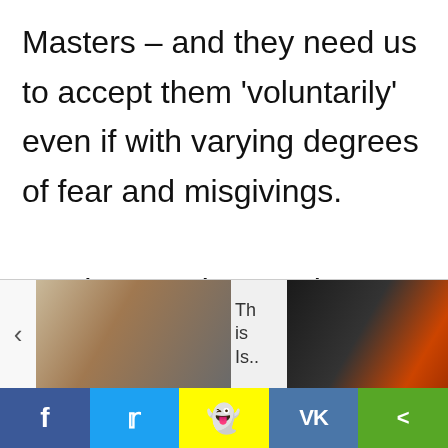Masters – and they need us to accept them 'voluntarily' even if with varying degrees of fear and misgivings.

In other words, people must either be persuaded or forced into accepting them. Persuasion, of course, is the preferred road, but if that doesn't work,
[Figure (screenshot): Website widget bar showing two thumbnail images with a left arrow, text snippet 'This Is..', right arrow, and 'Sym' label, plus a close button]
[Figure (screenshot): Social sharing bar with Facebook (f), Twitter (bird), Snapchat (ghost), VK (VK), and share icons]